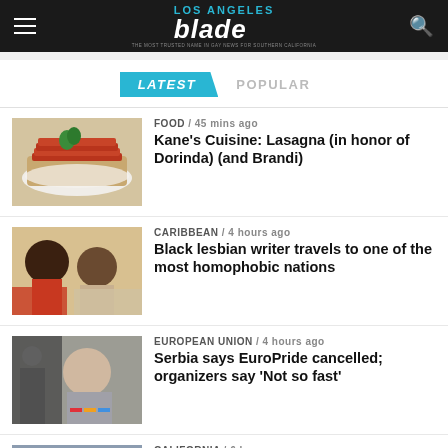Los Angeles Blade
LATEST / POPULAR
FOOD / 45 mins ago
Kane’s Cuisine: Lasagna (in honor of Dorinda) (and Brandi)
CARIBBEAN / 4 hours ago
Black lesbian writer travels to one of the most homophobic nations
EUROPEAN UNION / 4 hours ago
Serbia says EuroPride cancelled; organizers say ‘Not so fast’
CALIFORNIA / 6 hours ago
“Straight Pride” in Modesto erupts in violence